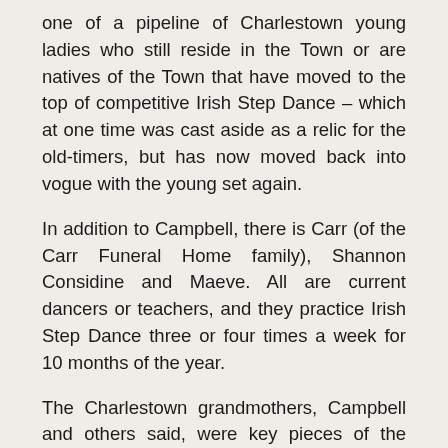one of a pipeline of Charlestown young ladies who still reside in the Town or are natives of the Town that have moved to the top of competitive Irish Step Dance – which at one time was cast aside as a relic for the old-timers, but has now moved back into vogue with the young set again.
In addition to Campbell, there is Carr (of the Carr Funeral Home family), Shannon Considine and Maeve. All are current dancers or teachers, and they practice Irish Step Dance three or four times a week for 10 months of the year.
The Charlestown grandmothers, Campbell and others said, were key pieces of the puzzle that is just now coming together with such talented young girls excelling in Irish Step. Irish traditions were instilled in all these girls at a young age by their grandmothers,